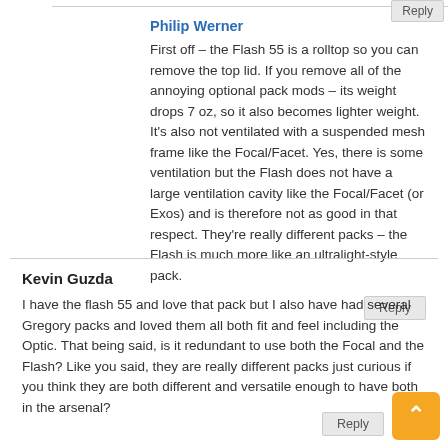Philip Werner
First off – the Flash 55 is a rolltop so you can remove the top lid. If you remove all of the annoying optional pack mods – its weight drops 7 oz, so it also becomes lighter weight. It's also not ventilated with a suspended mesh frame like the Focal/Facet. Yes, there is some ventilation but the Flash does not have a large ventilation cavity like the Focal/Facet (or Exos) and is therefore not as good in that respect. They're really different packs – the Flash is much more like an ultralight-style pack.
Reply
Kevin Guzda
I have the flash 55 and love that pack but I also have had several Gregory packs and loved them all both fit and feel including the Optic. That being said, is it redundant to use both the Focal and the Flash? Like you said, they are really different packs just curious if you think they are both different and versatile enough to have both in the arsenal?
Reply